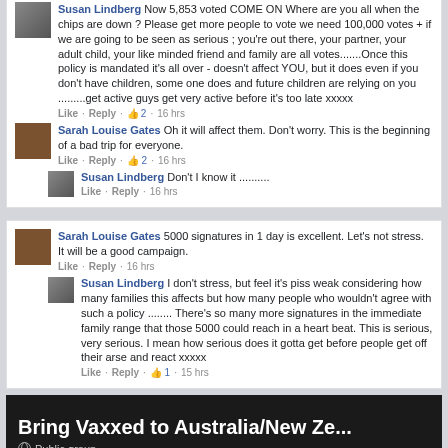Susan Lindberg Now 5,853 voted COME ON Where are you all when the chips are down ? Please get more people to vote we need 100,000 votes + if we are going to be seen as serious ; you're out there, your partner, your adult child, your like minded friend and family are all votes.......Once this policy is mandated it's all over - doesn't affect YOU, but it does even if you don't have children, some one does and future children are relying on you .........get active guys get very active before it's too late xxxxx
Like · Reply · 2 · 16 hrs
Sarah Louise Gates Oh it will affect them. Don't worry. This is the beginning of a bad trip for everyone.
Like · Reply · 2 · 16 hrs
Susan Lindberg Don't I know it ..........
Like · Reply · 16 hrs
Sarah Louise Gates 5000 signatures in 1 day is excellent. Let's not stress. It will be a good campaign.
Like · Reply · 16 hrs
Susan Lindberg I don't stress, but feel it's piss weak considering how many families this affects but how many people who wouldn't agree with such a policy ........ There's so many more signatures in the immediate family range that those 5000 could reach in a heart beat. This is serious, very serious. I mean how serious does it gotta get before people get off their arse and react xxxxx
Like · Reply · 1 · 15 hrs
Bring Vaxxed to Australia/New Ze...
Public group